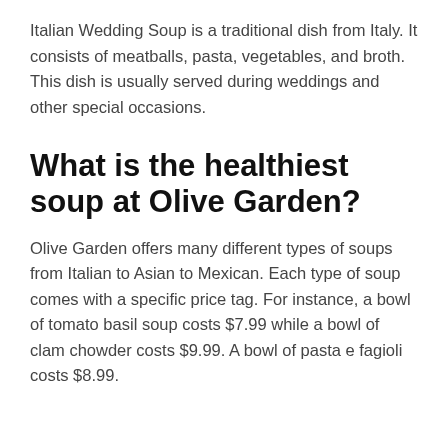Italian Wedding Soup is a traditional dish from Italy. It consists of meatballs, pasta, vegetables, and broth. This dish is usually served during weddings and other special occasions.
What is the healthiest soup at Olive Garden?
Olive Garden offers many different types of soups from Italian to Asian to Mexican. Each type of soup comes with a specific price tag. For instance, a bowl of tomato basil soup costs $7.99 while a bowl of clam chowder costs $9.99. A bowl of pasta e fagioli costs $8.99.